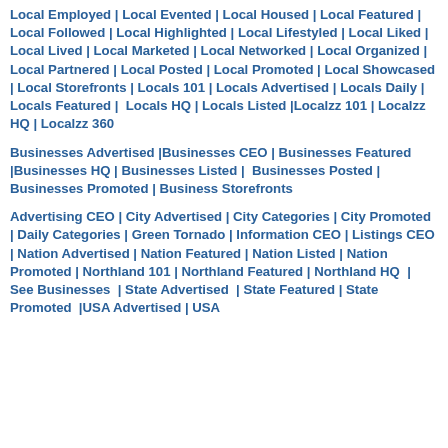Local Employed | Local Evented | Local Housed | Local Featured | Local Followed | Local Highlighted | Local Lifestyled | Local Liked | Local Lived | Local Marketed | Local Networked | Local Organized | Local Partnered | Local Posted | Local Promoted | Local Showcased | Local Storefronts | Locals 101 | Locals Advertised | Locals Daily | Locals Featured |  Locals HQ | Locals Listed |Localzz 101 | Localzz HQ | Localzz 360
Businesses Advertised |Businesses CEO | Businesses Featured |Businesses HQ | Businesses Listed |  Businesses Posted |  Businesses Promoted | Business Storefronts
Advertising CEO | City Advertised | City Categories | City Promoted | Daily Categories | Green Tornado | Information CEO | Listings CEO | Nation Advertised | Nation Featured | Nation Listed | Nation Promoted | Northland 101 | Northland Featured | Northland HQ  |  See Businesses  | State Advertised  | State Featured | State Promoted  |USA Advertised | USA